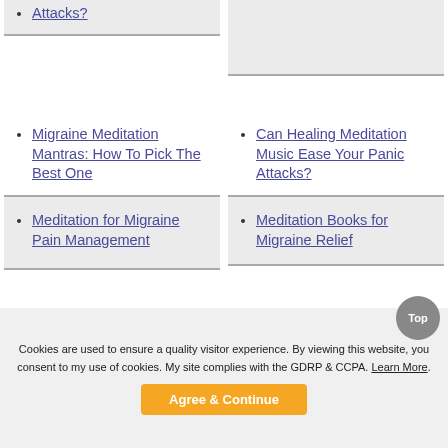Attacks?
Migraine Meditation Mantras: How To Pick The Best One
Can Healing Meditation Music Ease Your Panic Attacks?
Meditation for Migraine Pain Management
Meditation Books for Migraine Relief
The Best Free Migraine Meditations
Cookies are used to ensure a quality visitor experience. By viewing this website, you consent to my use of cookies. My site complies with the GDRP & CCPA. Learn More.